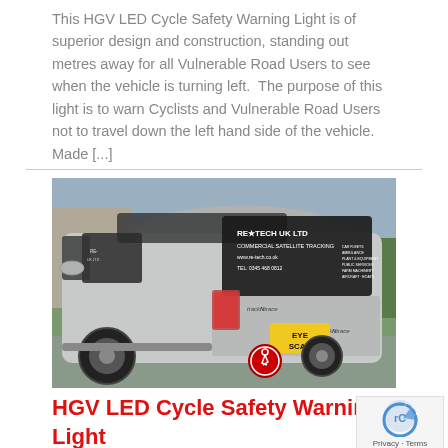This HGV LED Cycle Safety Warning Light is of superior design and construction, standing out metres away for all Vulnerable Road Users to see when the vehicle is turning left.  The purpose of this light is to warn Cyclists and Vulnerable Road Users not to travel down the left hand side of the vehicle. Made [...]
[Figure (photo): Rear view of a silver Land Rover SUV branded with RE-Tech UK Ltd commercial satellite tracking company signage including website www.re-tech.co.uk and telephone TEL: 0345 468 0812. The vehicle has a yellow 'EYE SCAN' number plate and a red circular cyclist warning light attached at the rear.]
HGV LED Cycle Safety Warning Light Round